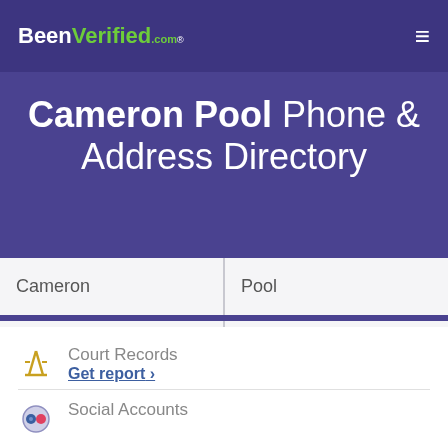BeenVerified.com
Cameron Pool Phone & Address Directory
Cameron | Pool | City | All States | SEARCH
Court Records
Get report >
Social Accounts